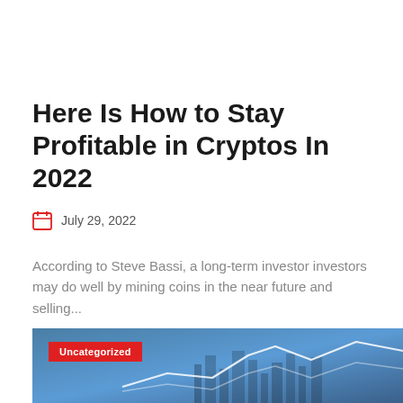Here Is How to Stay Profitable in Cryptos In 2022
July 29, 2022
According to Steve Bassi, a long-term investor investors may do well by mining coins in the near future and selling...
[Figure (illustration): Blue-toned financial/crypto themed image with a white line chart overlay and city background. A red 'Uncategorized' category badge is shown in the top-left corner of the image.]